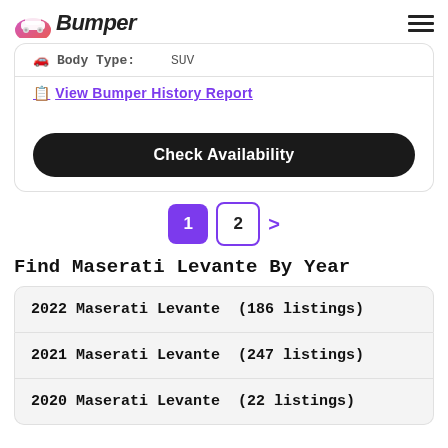Bumper
Body Type: SUV
View Bumper History Report
Check Availability
1 2 >
Find Maserati Levante By Year
2022 Maserati Levante  (186 listings)
2021 Maserati Levante  (247 listings)
2020 Maserati Levante  (22 listings)